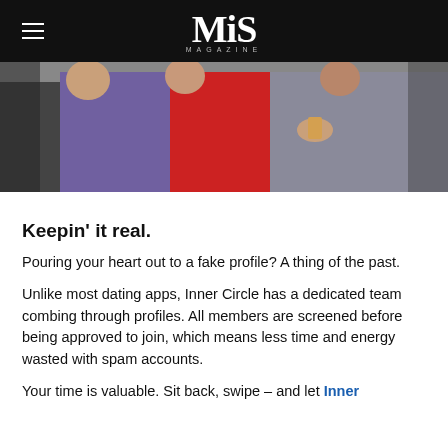MiS MAGAZINE
[Figure (photo): Photo of people at a social event, woman in red dress in the center holding a drink, man in purple suit on the left, man in grey suit on the right]
Keepin' it real.
Pouring your heart out to a fake profile? A thing of the past.
Unlike most dating apps, Inner Circle has a dedicated team combing through profiles. All members are screened before being approved to join, which means less time and energy wasted with spam accounts.
Your time is valuable. Sit back, swipe – and let Inner